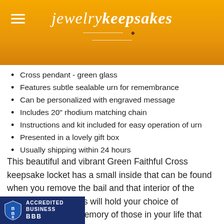jewelry keepsakes
Cross pendant - green glass
Features subtle sealable urn for remembrance
Can be personalized with engraved message
Includes 20" rhodium matching chain
Instructions and kit included for easy operation of urn
Presented in a lovely gift box
Usually shipping within 24 hours
This beautiful and vibrant Green Faithful Cross keepsake locket has a small inside that can be found when you remove the bail and that interior of the Green Faithful Cross will hold your choice of remembrances in memory of those in your life that have passed away. Many funeral homes will fill the jewelry for your if you aren't comfortable doing so ...cess of adding the remembrance is very ...ssle free. In addition to the needed
[Figure (logo): BBB Accredited Business badge with shield logo on dark blue background]